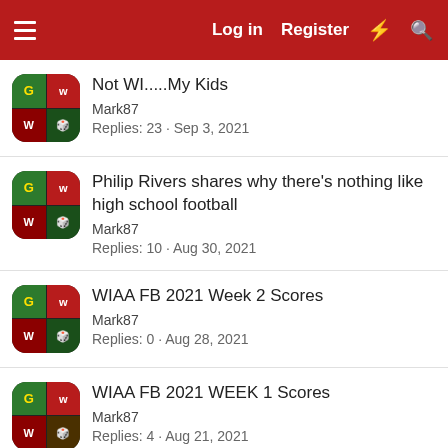Log in  Register
Not WI.....My Kids
Mark87
Replies: 23 · Sep 3, 2021
Philip Rivers shares why there's nothing like high school football
Mark87
Replies: 10 · Aug 30, 2021
WIAA FB 2021 Week 2 Scores
Mark87
Replies: 0 · Aug 28, 2021
WIAA FB 2021 WEEK 1 Scores
Mark87
Replies: 4 · Aug 21, 2021
1  ...  10  Next